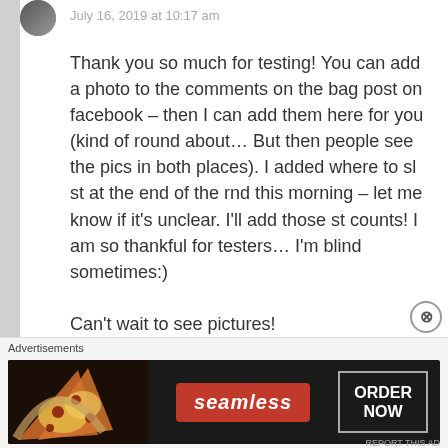July 16, 2019 at 10:17 am
Thank you so much for testing! You can add a photo to the comments on the bag post on facebook – then I can add them here for you (kind of round about… But then people see the pics in both places). I added where to sl st at the end of the rnd this morning – let me know if it's unclear. I'll add those st counts! I am so thankful for testers… I'm blind sometimes:)

Can't wait to see pictures!
Warmly,
Abb...
Advertisements
[Figure (screenshot): Seamless food delivery advertisement banner with pizza image on left, red Seamless logo in center, and ORDER NOW button on right on dark background]